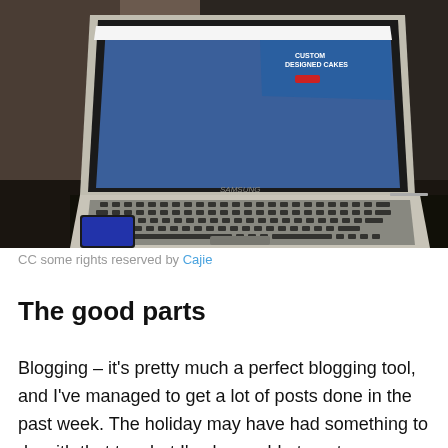[Figure (photo): A Samsung laptop/Chromebook sitting on a dark desk, with the screen displaying a webpage about custom designed cakes. The laptop is open at an angle with the keyboard visible.]
CC some rights reserved by Cajie
The good parts
Blogging – it's pretty much a perfect blogging tool, and I've managed to get a lot of posts done in the past week. The holiday may have had something to do with that too, but I've been able to get more done than during previous